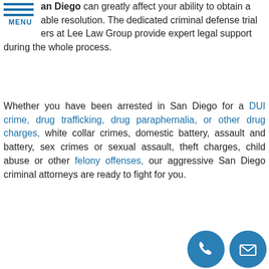an Diego can greatly affect your ability to obtain a favorable resolution. The dedicated criminal defense trial lawyers at Lee Law Group provide expert legal support during the whole process.
Whether you have been arrested in San Diego for a DUI crime, drug trafficking, drug paraphernalia, or other drug charges, white collar crimes, domestic battery, assault and battery, sex crimes or sexual assault, theft charges, child abuse or other felony offenses, our aggressive San Diego criminal attorneys are ready to fight for you.
[Figure (screenshot): Blue button with white bold text: GET A CONSULTATION with a hand pointer icon]
Let's Talk Now- Free Consultation
Don't trust the discount lawyers you see on billboards! You deserve a real law firm, working hard for y…
[Figure (illustration): Two floating circular icons: a phone icon and an envelope/mail icon, both in teal/blue]